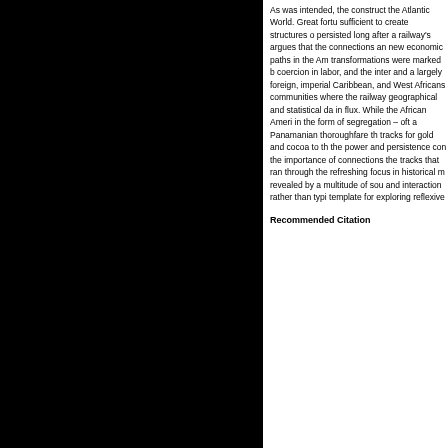As was intended, the construct the Atlantic World. Great fortu sufficient to create structures o persisted long after a railway's argues that the connections an new economic paths in the Am transformations were marked b coercion in labor, and the inter and a largely foreign, imperial Caribbean, and West Africans communities where the railway geographical and statistical da in flux. While the African Ameri in the form of segregation – oft a Panamanian thoroughfare th tracks for gold and cocoa to th the power and persistence con the importance of connections the tracks that ran through the refreshing focus in historical m revealed by a multitude of sou and interaction rather than typi template for exploring reflexive
Recommended Citation